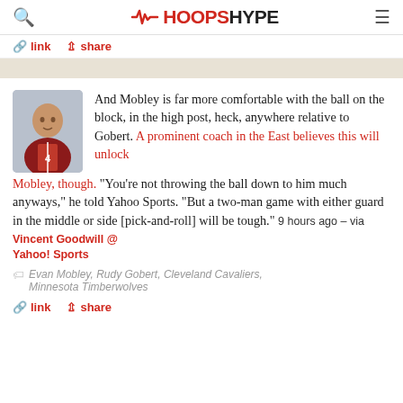HoopsHype
link  share
[Figure (photo): Player photo of Evan Mobley in Cleveland Cavaliers uniform]
And Mobley is far more comfortable with the ball on the block, in the high post, heck, anywhere relative to Gobert. A prominent coach in the East believes this will unlock Mobley, though. "You're not throwing the ball down to him much anyways," he told Yahoo Sports. "But a two-man game with either guard in the middle or side [pick-and-roll] will be tough." 9 hours ago – via Vincent Goodwill @ Yahoo! Sports
Evan Mobley, Rudy Gobert, Cleveland Cavaliers, Minnesota Timberwolves
link  share